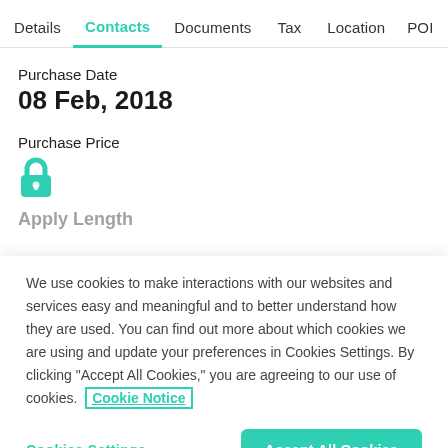Details  Contacts  Documents  Tax  Location  POI
Purchase Date
08 Feb, 2018
Purchase Price
[Figure (illustration): Teal/green lock icon indicating a secured/private field]
Apply Length (partially visible, cut off)
We use cookies to make interactions with our websites and services easy and meaningful and to better understand how they are used. You can find out more about which cookies we are using and update your preferences in Cookies Settings. By clicking "Accept All Cookies," you are agreeing to our use of cookies.  Cookie Notice
Cookies Settings
Accept All Cookies